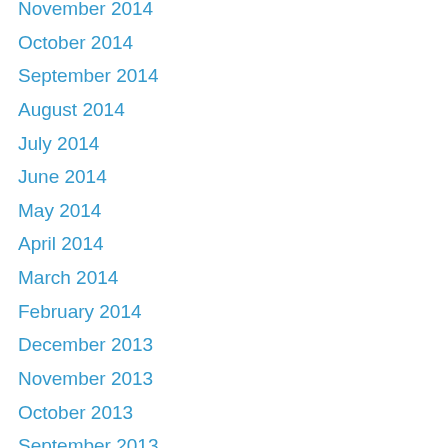November 2014
October 2014
September 2014
August 2014
July 2014
June 2014
May 2014
April 2014
March 2014
February 2014
December 2013
November 2013
October 2013
September 2013
August 2013
July 2013
June 2013
May 2013
April 2013
March 2013